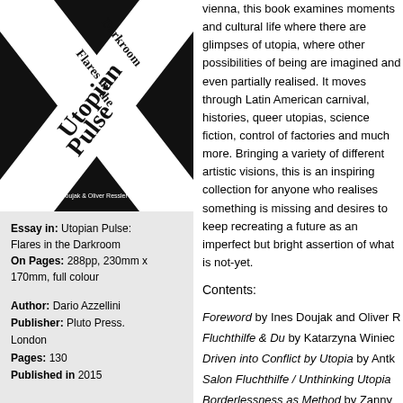[Figure (illustration): Book cover of 'Utopian Pulse: Flares in the Darkroom' with white bold text in an X-pattern on black background, edited by Ines Doujak & Oliver Ressler]
Essay in: Utopian Pulse: Flares in the Darkroom
On Pages: 288pp, 230mm x 170mm, full colour
Author: Dario Azzellini
Publisher: Pluto Press. London
Pages: 130
Published in 2015
vienna, this book examines moments and cultural life where there are glimpses of utopia, where other possibilities of being are imagined and even partially realised. It moves through Latin American carnival, histories, queer utopias, science fiction, control of factories and much more. Bringing a variety of different artistic visions, this is an inspiring collection for anyone who realises something is missing and desires to keep recreating a future as an imperfect but bright assertion of what is not-yet.
Contents:
Foreword by Ines Doujak and Oliver R
Fluchthilfe & Du by Katarzyna Winiec
Driven into Conflict by Utopia by Antk
Salon Fluchthilfe / Unthinking Utopia
Borderlessness as Method by Zanny
The World is Flooding by Oreet Ashe